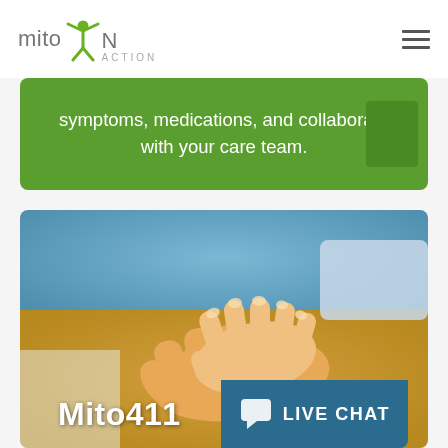[Figure (logo): MitoAction logo: stylized green figure with arms raised above the word 'mito' and 'ACTION' below]
symptoms, medications, and collaborate with your care team.
[Figure (photo): Close-up photograph of a child's hand resting on top of an adult's hand, warm tones, caring/support theme]
Mito411
LIVE CHAT